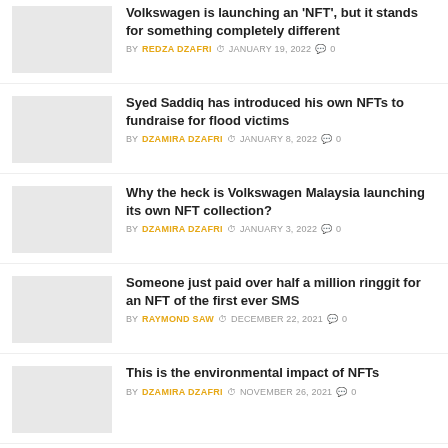Volkswagen is launching an 'NFT', but it stands for something completely different — BY REDZA DZAFRI — JANUARY 19, 2022 — 0 comments
Syed Saddiq has introduced his own NFTs to fundraise for flood victims — BY DZAMIRA DZAFRI — JANUARY 8, 2022 — 0 comments
Why the heck is Volkswagen Malaysia launching its own NFT collection? — BY DZAMIRA DZAFRI — JANUARY 3, 2022 — 0 comments
Someone just paid over half a million ringgit for an NFT of the first ever SMS — BY RAYMOND SAW — DECEMBER 22, 2021 — 0 comments
This is the environmental impact of NFTs — BY DZAMIRA DZAFRI — NOVEMBER 26, 2021 — 0 comments
Malaysian rapper Namewee sold NFTs worth…